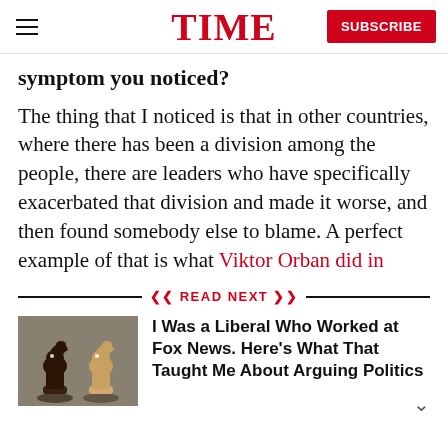TIME | SUBSCRIBE
symptom you noticed?
The thing that I noticed is that in other countries, where there has been a division among the people, there are leaders who have specifically exacerbated that division and made it worse, and then found somebody else to blame. A perfect example of that is what Viktor Orban did in Hungary. He aligned himself with his own country's
READ NEXT
[Figure (photo): Two chess knight pieces facing each other — one dark, one light — on a dark surface]
I Was a Liberal Who Worked at Fox News. Here's What That Taught Me About Arguing Politics